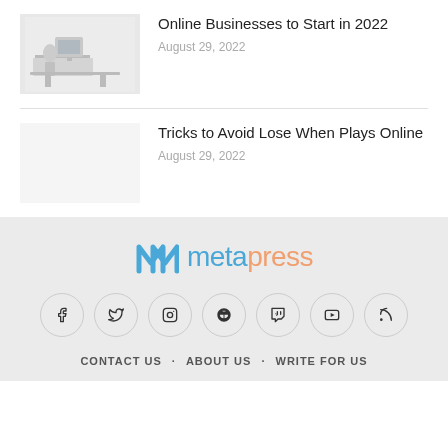[Figure (photo): Thumbnail image of person at a desk with computer, grayscale/muted]
Online Businesses to Start in 2022
August 29, 2022
Tricks to Avoid Lose When Plays Online
August 29, 2022
[Figure (logo): Metapress logo with stylized M icon in blue and 'meta' in blue, 'press' in orange/salmon]
[Figure (infographic): Row of social media icons in circles: Facebook, Twitter, Instagram, Pinterest, Vimeo, YouTube, RSS]
CONTACT US   ABOUT US   WRITE FOR US